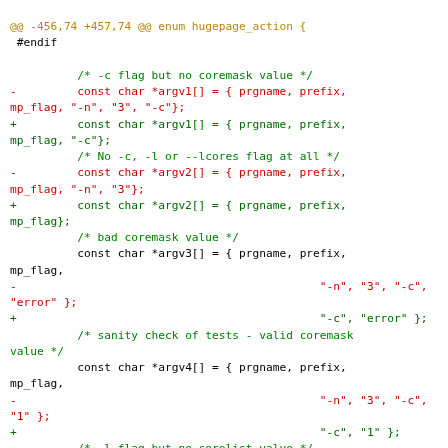[Figure (screenshot): A code diff view showing changes to C source code. Lines prefixed with '-' are in red (removed), lines prefixed with '+' are in green (added), comment lines are in green, and the diff header is in olive/gold color. The code is about argv array definitions with flag changes removing '-n', '3' arguments.]